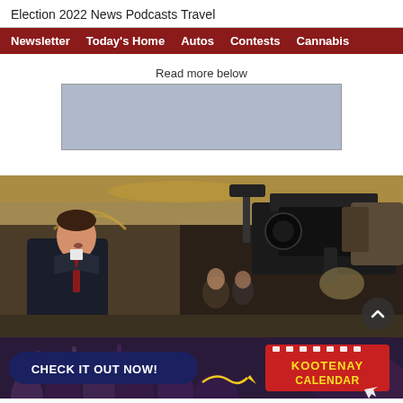Election 2022  News  Podcasts  Travel
Newsletter  Today's Home  Autos  Contests  Cannabis
Read more below
[Figure (other): Light blue/grey advertisement placeholder box]
[Figure (photo): Photo of a man in a dark suit with red tie speaking to a camera crew in an ornate hallway, likely a government building]
[Figure (other): Kootenay Calendar advertisement banner: CHECK IT OUT NOW! with crowd and Kootenay Calendar logo]